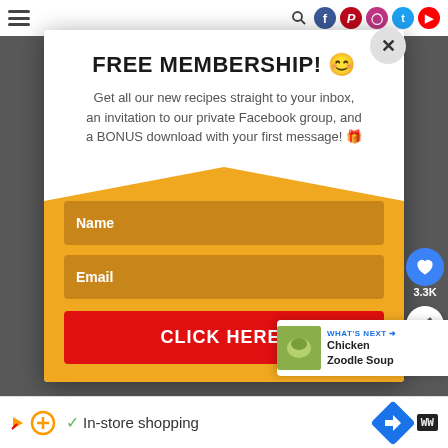Navigation bar with hamburger menu and social icons
FREE MEMBERSHIP! 😊
Get all our new recipes straight to your inbox, an invitation to our private Facebook group, and a BONUS download with your first message! 🎁
Name field
Email field
CLICK HERE!
WHAT'S NEXT → Chicken Zoodle Soup
3.3K
In-store shopping (advertisement bar)